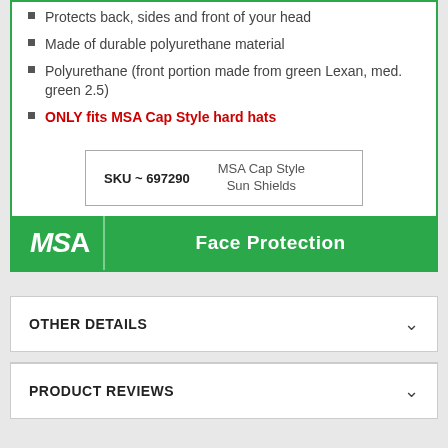Protects back, sides and front of your head
Made of durable polyurethane material
Polyurethane (front portion made from green Lexan, med. green 2.5)
ONLY fits MSA Cap Style hard hats
| SKU | Category |
| --- | --- |
| SKU ~ 697290 | MSA Cap Style Sun Shields |
[Figure (logo): MSA logo with Face Protection label on green background]
OTHER DETAILS
FIND SIMILAR PRODUCTS BY CATEGORY
PRODUCT REVIEWS